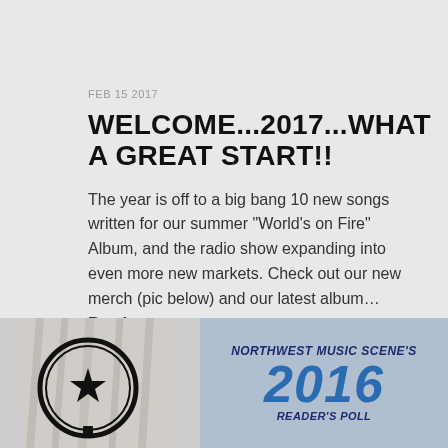FEB 15 2017
WELCOME...2017...WHAT A GREAT START!!
The year is off to a big bang 10 new songs written for our summer "World's on Fire" Album, and the radio show expanding into even more new markets.  Check out our new merch (pic below) and our latest album…Read more
[Figure (photo): Left: circular logo with star emblem in black and white. Right: Northwest Music Scene's 2016 Reader's Poll award graphic in blue and navy on a light background.]